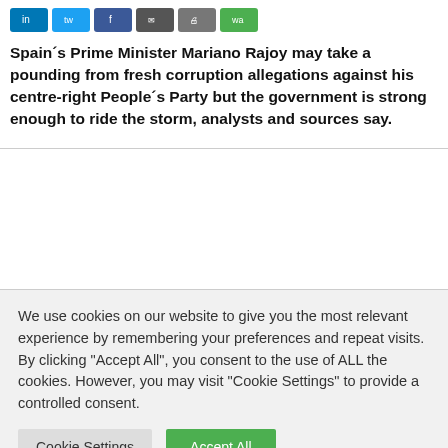[Figure (other): Social media share buttons: LinkedIn (blue), Twitter (light blue), Facebook (dark blue), Email (dark grey), Print (grey), WhatsApp (green)]
Spain´s Prime Minister Mariano Rajoy may take a pounding from fresh corruption allegations against his centre-right People´s Party but the government is strong enough to ride the storm, analysts and sources say.
We use cookies on our website to give you the most relevant experience by remembering your preferences and repeat visits. By clicking "Accept All", you consent to the use of ALL the cookies. However, you may visit "Cookie Settings" to provide a controlled consent.